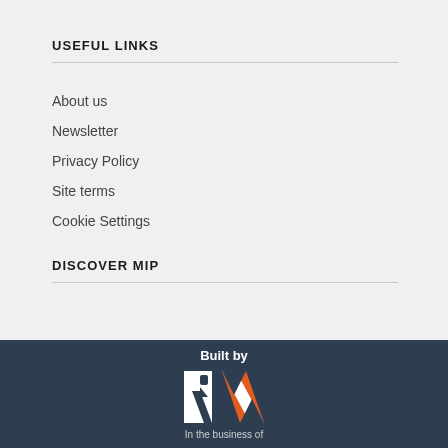USEFUL LINKS
About us
Newsletter
Privacy Policy
Site terms
Cookie Settings
DISCOVER MIP
[Figure (logo): RX logo with orange chevron and white R and X letterforms, with 'Built by' text above]
In the business of